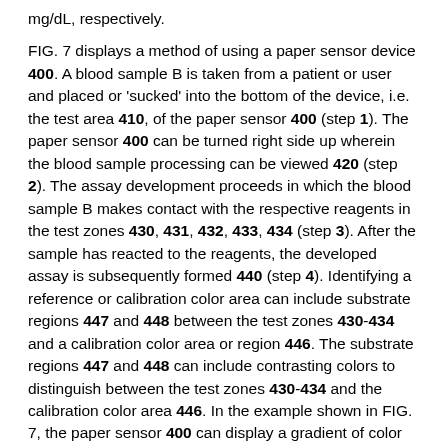mg/dL, respectively.
FIG. 7 displays a method of using a paper sensor device 400. A blood sample B is taken from a patient or user and placed or 'sucked' into the bottom of the device, i.e. the test area 410, of the paper sensor 400 (step 1). The paper sensor 400 can be turned right side up wherein the blood sample processing can be viewed 420 (step 2). The assay development proceeds in which the blood sample B makes contact with the respective reagents in the test zones 430, 431, 432, 433, 434 (step 3). After the sample has reacted to the reagents, the developed assay is subsequently formed 440 (step 4). Identifying a reference or calibration color area can include substrate regions 447 and 448 between the test zones 430-434 and a calibration color area or region 446. The substrate regions 447 and 448 can include contrasting colors to distinguish between the test zones 430-434 and the calibration color area 446. In the example shown in FIG. 7, the paper sensor 400 can display a gradient of color change in the test zones 430-434 due to different types of reagents, and/or different concentrations of a reagent, that can measure different levels of a bioassay. It is to be appreciated, that each type